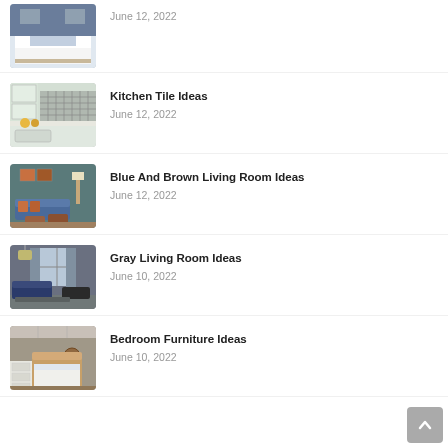June 12, 2022
[Figure (photo): Bedroom with white bedding and blue accent pillow]
Kitchen Tile Ideas
June 12, 2022
[Figure (photo): Kitchen with tile backsplash and light cabinets]
Blue And Brown Living Room Ideas
June 12, 2022
[Figure (photo): Living room with blue sofa and brown ottomans on teal walls]
Gray Living Room Ideas
June 10, 2022
[Figure (photo): Gray living room with large window and navy furniture]
Bedroom Furniture Ideas
June 10, 2022
[Figure (photo): Bedroom with wooden furniture and white dresser]